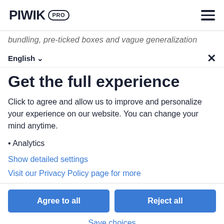PIWIK PRO [navigation bar with hamburger menu]
bundling, pre-ticked boxes and vague generalization
English ✓  ×
Get the full experience
Click to agree and allow us to improve and personalize your experience on our website. You can change your mind anytime.
• Analytics
Show detailed settings
Visit our Privacy Policy page for more
Agree to all   Reject all
Save choices
Powered by PIWIK PRO